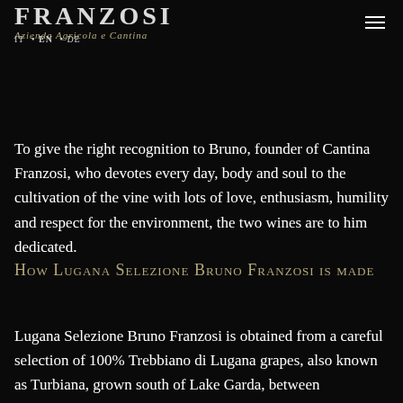FRANZOSI
Azienda Agricola e Cantina
IT • EN • DE
after the red wine Garda Classico Superiore "Selezione Bruno Franzosi", a celebration of Bruno and Ornella Franzosi 45th wedding anniversary
To give the right recognition to Bruno, founder of Cantina Franzosi, who devotes every day, body and soul to the cultivation of the vine with lots of love, enthusiasm, humility and respect for the environment, the two wines are to him dedicated.
How Lugana Selezione Bruno Franzosi is made
Lugana Selezione Bruno Franzosi is obtained from a careful selection of 100% Trebbiano di Lugana grapes, also known as Turbiana, grown south of Lake Garda, between Desenzano and Sirmione. The grapes are hand harvested at full ripeness and put into boxes in